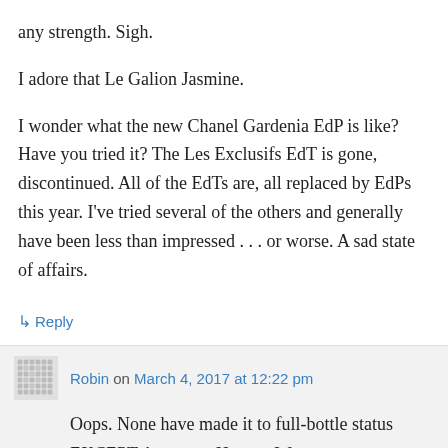any strength. Sigh.
I adore that Le Galion Jasmine.
I wonder what the new Chanel Gardenia EdP is like? Have you tried it? The Les Exclusifs EdT is gone, discontinued. All of the EdTs are, all replaced by EdPs this year. I've tried several of the others and generally have been less than impressed . . . or worse. A sad state of affairs.
↳ Reply
Robin on March 4, 2017 at 12:22 pm
Oops. None have made it to full-bottle status EXCEPT Amouage Honour Woman.